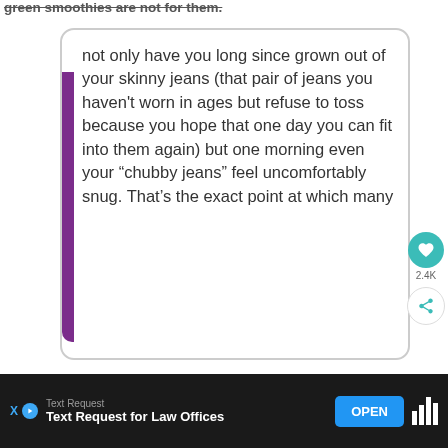green smoothies are not for them.
not only have you long since grown out of your skinny jeans (that pair of jeans you haven't worn in ages but refuse to toss because you hope that one day you can fit into them again) but one morning even your “chubby jeans” feel uncomfortably snug. That’s the exact point at which many
[Figure (screenshot): Advertisement bar at bottom: Text Request for Law Offices with OPEN button, and Tidal icon on right]